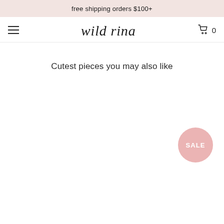free shipping orders $100+
wild rina
Cutest pieces you may also like
[Figure (other): SALE badge circle in pink/rose color]